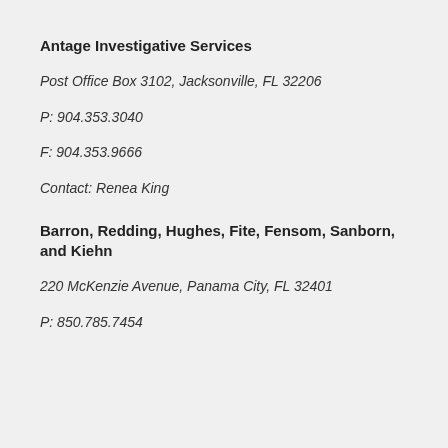Antage Investigative Services
Post Office Box 3102, Jacksonville, FL 32206
P: 904.353.3040
F: 904.353.9666
Contact: Renea King
Barron, Redding, Hughes, Fite, Fensom, Sanborn, and Kiehn
220 McKenzie Avenue, Panama City, FL 32401
P: 850.785.7454